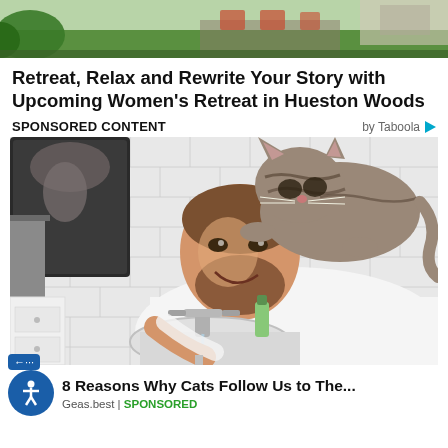[Figure (photo): Top portion of an outdoor retreat/resort scene with green grass, patio furniture, visible at the top of the page]
Retreat, Relax and Rewrite Your Story with Upcoming Women's Retreat in Hueston Woods
SPONSORED CONTENT   by Taboola
[Figure (photo): A smiling bearded man washing his hands at a bathroom sink while a tabby cat sits on his head/shoulders, white subway tile walls in background, mirror reflecting the scene]
8 Reasons Why Cats Follow Us to The...
Geas.best | SPONSORED